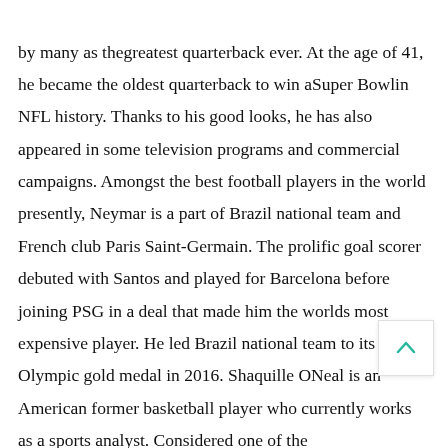by many as thegreatest quarterback ever. At the age of 41, he became the oldest quarterback to win aSuper Bowlin NFL history. Thanks to his good looks, he has also appeared in some television programs and commercial campaigns. Amongst the best football players in the world presently, Neymar is a part of Brazil national team and French club Paris Saint-Germain. The prolific goal scorer debuted with Santos and played for Barcelona before joining PSG in a deal that made him the worlds most expensive player. He led Brazil national team to its first Olympic gold medal in 2016. Shaquille ONeal is an American former basketball player who currently works as a sports analyst. Considered one of the